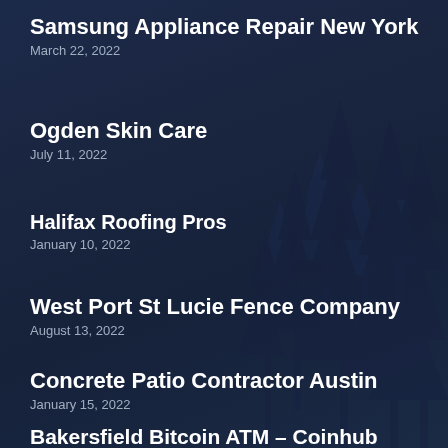Samsung Appliance Repair New York
March 22, 2022
Ogden Skin Care
July 11, 2022
Halifax Roofing Pros
January 10, 2022
West Port St Lucie Fence Company
August 13, 2022
Concrete Patio Contractor Austin
January 15, 2022
Bakersfield Bitcoin ATM – Coinhub